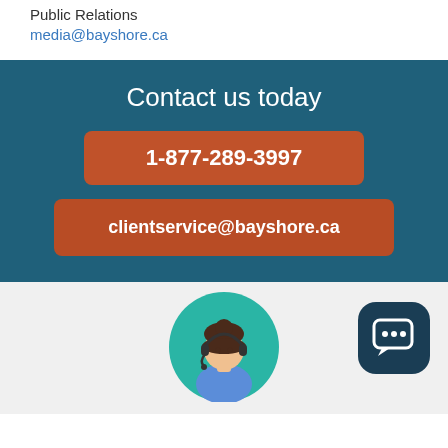Public Relations
media@bayshore.ca
[Figure (infographic): Teal/dark blue banner with 'Contact us today' heading, an orange phone number button '1-877-289-3997', and an orange email button 'clientservice@bayshore.ca']
[Figure (illustration): Bottom section with light gray background showing a customer service representative illustration in a teal circle on the left, and a dark navy rounded chat bubble icon on the right]